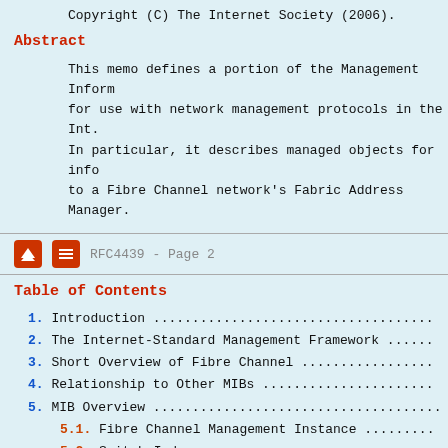Copyright (C) The Internet Society (2006).
Abstract
This memo defines a portion of the Management Information Base (MIB) for use with network management protocols in the Internet community. In particular, it describes managed objects for information related to a Fibre Channel network's Fabric Address Manager.
RFC4439 - Page 2
Table of Contents
1. Introduction ....................................
2. The Internet-Standard Management Framework ......
3. Short Overview of Fibre Channel .................
4. Relationship to Other MIBs ......................
5. MIB Overview ....................................
5.1. Fibre Channel Management Instance .........
5.2. Switch Index ..................................
5.3. Fabric Index